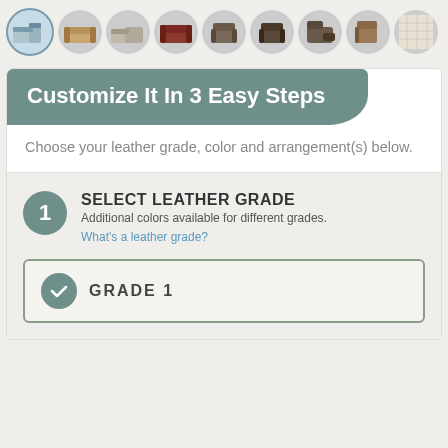[Figure (screenshot): Horizontal strip of circular thumbnail images of sofas and recliners, first one highlighted with blue border]
Customize It In 3 Easy Steps
Choose your leather grade, color and arrangement(s) below.
1 SELECT LEATHER GRADE
Additional colors available for different grades.
What's a leather grade?
GRADE  1